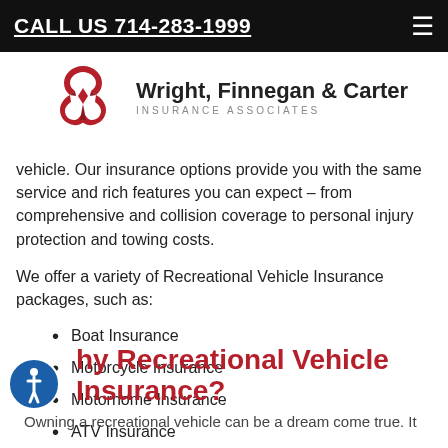CALL US 714-283-1999
[Figure (logo): Wright, Finnegan & Carter Insurance Associates logo with red interlocking loops icon]
vehicle. Our insurance options provide you with the same service and rich features you can expect – from comprehensive and collision coverage to personal injury protection and towing costs.
We offer a variety of Recreational Vehicle Insurance packages, such as:
Boat Insurance
Motorcycle Insurance
Motorhome Insurance
ATV Insurance
Snowmobile Insurance
Why Recreational Vehicle Insurance?
Owning a recreational vehicle can be a dream come true. It